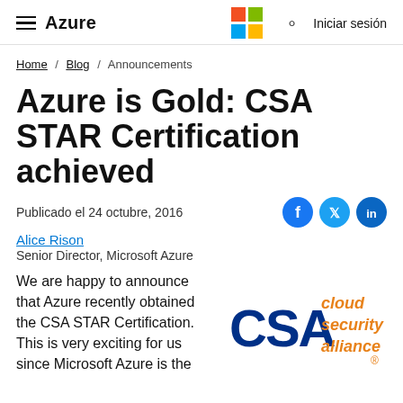Azure | Iniciar sesión
Home / Blog / Announcements
Azure is Gold: CSA STAR Certification achieved
Publicado el 24 octubre, 2016
Alice Rison
Senior Director, Microsoft Azure
We are happy to announce that Azure recently obtained the CSA STAR Certification. This is very exciting for us since Microsoft Azure is the
[Figure (logo): CSA cloud security alliance logo]